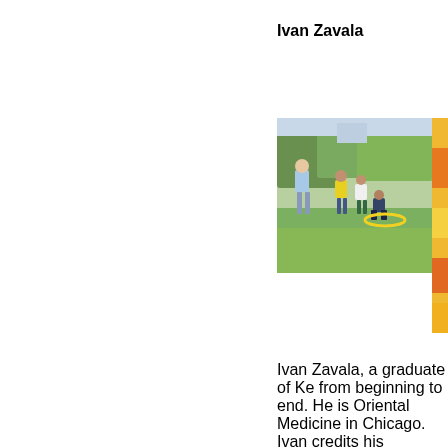Ivan Zavala
[Figure (photo): Person standing with children outdoors on grass, appears to be an activity or game with a hoop. Trees visible in background.]
[Figure (photo): Partially visible decorative orange/yellow patterned image on far right edge.]
Ivan Zavala, a graduate of Ke from beginning to end. He is Oriental Medicine in Chicago. Ivan credits his experience in that has led him to his interes on teaching young children. ' epidemic of childhood obesity foundation to the future. This tree will be prosperous.' Ivan